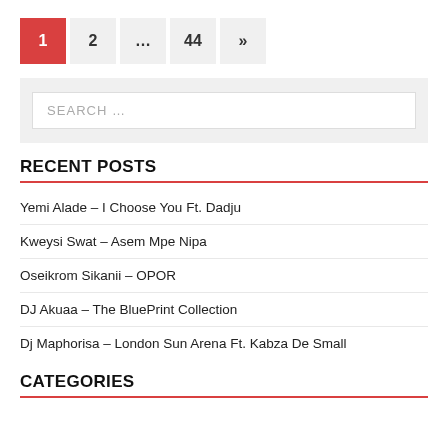1  2  …  44  »
SEARCH …
RECENT POSTS
Yemi Alade – I Choose You Ft. Dadju
Kweysi Swat – Asem Mpe Nipa
Oseikrom Sikanii – OPOR
DJ Akuaa – The BluePrint Collection
Dj Maphorisa – London Sun Arena Ft. Kabza De Small
CATEGORIES